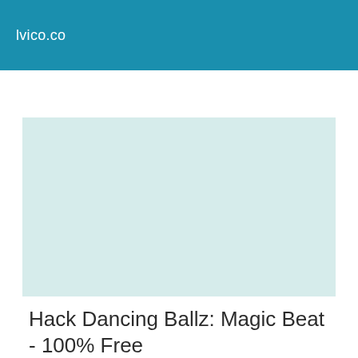lvico.co
[Figure (other): Light mint/teal colored rectangular placeholder image block]
Hack Dancing Ballz: Magic Beat - 100% Free